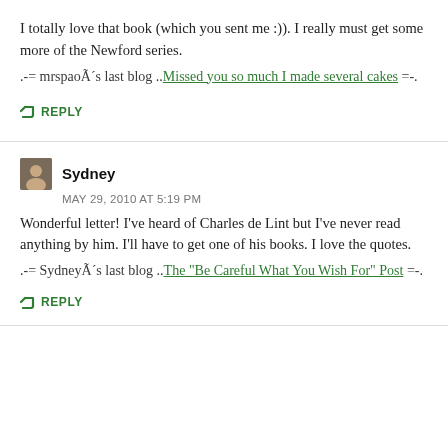I totally love that book (which you sent me :)). I really must get some more of the Newford series.
.-= mrspaoÃ´s last blog ..Missed you so much I made several cakes =-.
REPLY
Sydney
MAY 29, 2010 AT 5:19 PM
Wonderful letter! I've heard of Charles de Lint but I've never read anything by him. I'll have to get one of his books. I love the quotes.
.-= SydneyÃ´s last blog ..The "Be Careful What You Wish For" Post =-.
REPLY